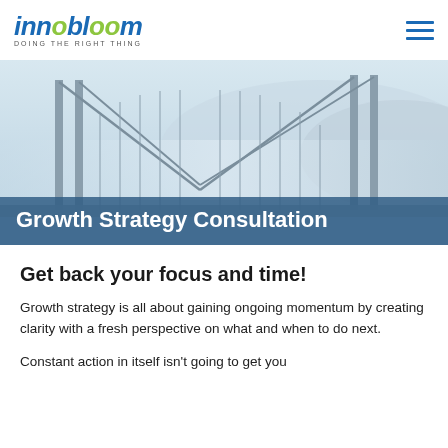innobloom — DOING THE RIGHT THING
[Figure (photo): Suspension bridge (Golden Gate style) with misty mountains in background, light blue tones]
Growth Strategy Consultation
Get back your focus and time!
Growth strategy is all about gaining ongoing momentum by creating clarity with a fresh perspective on what and when to do next.
Constant action in itself isn't going to get you